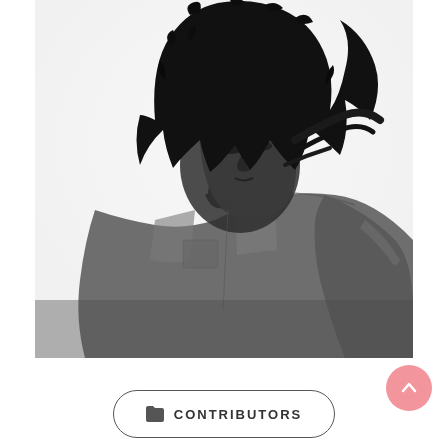[Figure (photo): Black and white portrait photograph of a person with large curly/afro hair, wearing a denim shirt, looking down and to the side against a white background.]
CONTRIBUTORS